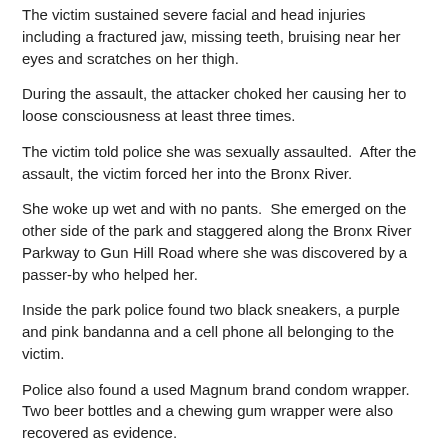The victim sustained severe facial and head injuries including a fractured jaw, missing teeth, bruising near her eyes and scratches on her thigh.
During the assault, the attacker choked her causing her to loose consciousness at least three times.
The victim told police she was sexually assaulted.  After the assault, the victim forced her into the Bronx River.
She woke up wet and with no pants.  She emerged on the other side of the park and staggered along the Bronx River Parkway to Gun Hill Road where she was discovered by a passer-by who helped her.
Inside the park police found two black sneakers, a purple and pink bandanna and a cell phone all belonging to the victim.
Police also found a used Magnum brand condom wrapper.  Two beer bottles and a chewing gum wrapper were also recovered as evidence.